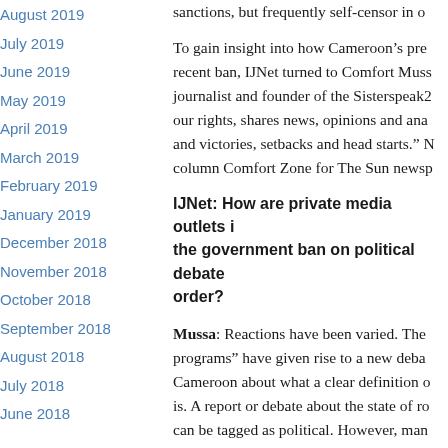August 2019
July 2019
June 2019
May 2019
April 2019
March 2019
February 2019
January 2019
December 2018
November 2018
October 2018
September 2018
August 2018
July 2018
June 2018
sanctions, but frequently self-censor in o…
To gain insight into how Cameroon’s pre… recent ban, IJNet turned to Comfort Muss… journalist and founder of the Sisterspeak2… our rights, shares news, opinions and ana… and victories, setbacks and head starts.” N… column Comfort Zone for The Sun newsp…
IJNet: How are private media outlets i… the government ban on political debate… order?
Mussa: Reactions have been varied. The … programs” have given rise to a new deba… Cameroon about what a clear definition o… is. A report or debate about the state of ro… can be tagged as political. However, man…